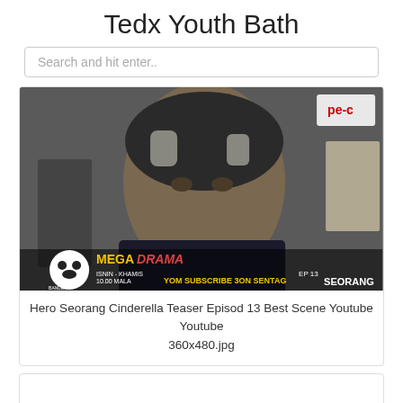Tedx Youth Bath
Search and hit enter..
[Figure (screenshot): Screenshot of a video thumbnail showing a man in a dark shirt, with Mega Drama TV overlay branding and text 'YOM SUBSCRIBE 3ON SENTAG EP 13', with a panda logo and SEORANG text visible.]
Hero Seorang Cinderella Teaser Episod 13 Best Scene Youtube Youtube
360x480.jpg